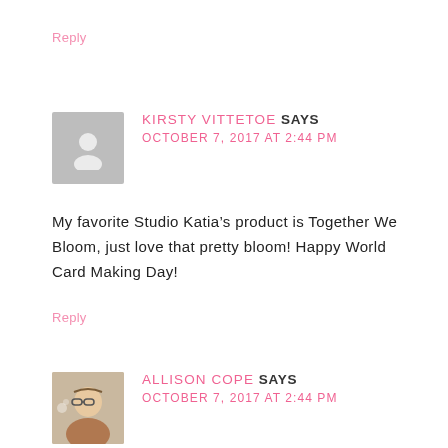Reply
KIRSTY VITTETOE SAYS
OCTOBER 7, 2017 AT 2:44 PM
My favorite Studio Katia’s product is Together We Bloom, just love that pretty bloom! Happy World Card Making Day!
Reply
ALLISON COPE SAYS
OCTOBER 7, 2017 AT 2:44 PM